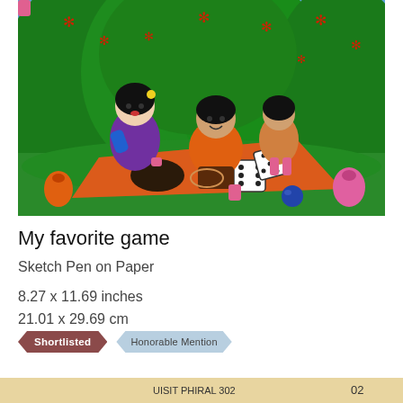[Figure (illustration): Child's drawing using sketch pens on paper showing two children playing a game (ludo/dice) on an orange mat outdoors. A girl in purple sits on the left, a boy in orange shirt crouches in the middle, and another figure is on the right. Green trees fill the background with red star-shaped flowers. Dice are visible on the mat, along with small bags on the sides.]
My favorite game
Sketch Pen on Paper
8.27 x 11.69 inches
21.01 x 29.69 cm
Shortlisted   Honorable Mention
[Figure (illustration): Partial view of another artwork at the bottom of the page with text in Hindi/regional script and the number 02]